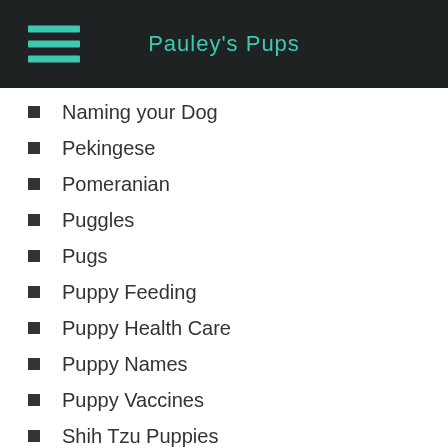Pauley's Pups
Naming your Dog
Pekingese
Pomeranian
Puggles
Pugs
Puppy Feeding
Puppy Health Care
Puppy Names
Puppy Vaccines
Shih Tzu Puppies
Small Dog Breeds
Teddy Bear Dogs
Tips for Keeping your Dog Cool
Toy Dog Breeds
Traveling With Dogs
Uncategorized